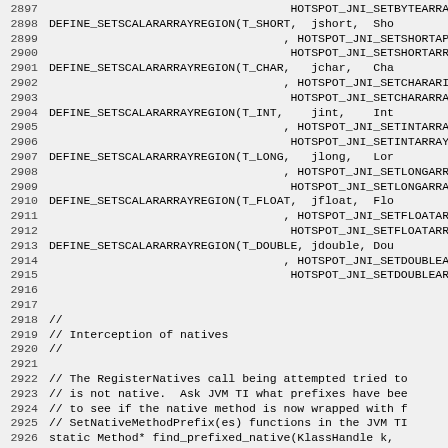Source code listing lines 2897-2926, showing DEFINE_SETSCALARARRAYREGION macro calls and a comment block about Interception of natives and RegisterNatives, followed by static Method* find_prefixed_native function declaration.